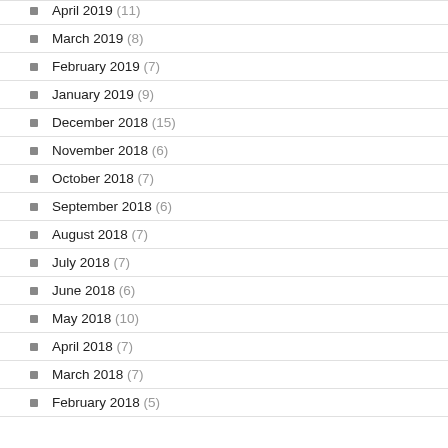April 2019 (11)
March 2019 (8)
February 2019 (7)
January 2019 (9)
December 2018 (15)
November 2018 (6)
October 2018 (7)
September 2018 (6)
August 2018 (7)
July 2018 (7)
June 2018 (6)
May 2018 (10)
April 2018 (7)
March 2018 (7)
February 2018 (5)